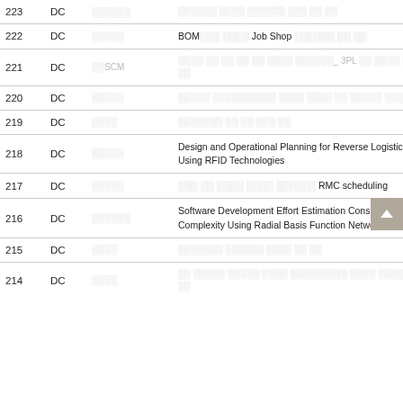| No. | DC | Author | Title |
| --- | --- | --- | --- |
| 223 | DC | ░░░░░░ | ░░░░░░ ░░░░ ░░░░░░ ░░░ ░░ ░░ |
| 222 | DC | ░░░░░ | BOM░░░ ░░░░ Job Shop ░░░░░░ ░░ ░░ |
| 221 | DC | ░░SCM | ░░░░ ░░ ░░ ░░ ░░ ░░░░ ░░░░░░_ 3PL ░░ ░░░░ ░░ ░░ |
| 220 | DC | ░░░░░ | ░░░░░ ░░░░░░░░░░ ░░░░ ░░░░ ░░ ░░░░░ ░░░░░░░ |
| 219 | DC | ░░░░ | ░░░░░░░ ░░ ░░ ░░░ ░░ |
| 218 | DC | ░░░░░ | Design and Operational Planning for Reverse Logistics Using RFID Technologies |
| 217 | DC | ░░░░░ | ░░░ ░░ ░░░░ ░░░░ ░░░░░░ RMC scheduling |
| 216 | DC | ░░░░░░ | Software Development Effort Estimation Considering Complexity Using Radial Basis Function Network |
| 215 | DC | ░░░░ | ░░░░░░░ ░░░░░░ ░░░░ ░░ ░░ |
| 214 | DC | ░░░░ | ░░ ░░░░░ ░░░░░ ░░░░ ░░░░░░░░░ ░░░░ ░░░░░░ ░░ |